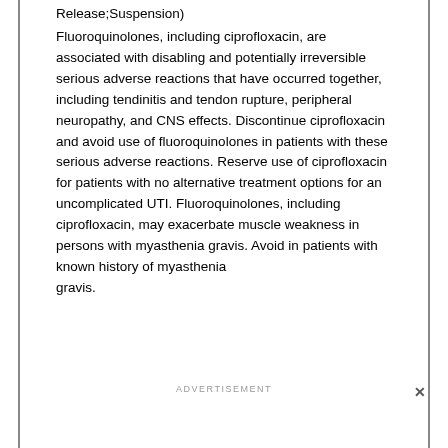Release;Suspension) Fluoroquinolones, including ciprofloxacin, are associated with disabling and potentially irreversible serious adverse reactions that have occurred together, including tendinitis and tendon rupture, peripheral neuropathy, and CNS effects. Discontinue ciprofloxacin and avoid use of fluoroquinolones in patients with these serious adverse reactions. Reserve use of ciprofloxacin for patients with no alternative treatment options for an uncomplicated UTI. Fluoroquinolones, including ciprofloxacin, may exacerbate muscle weakness in persons with myasthenia gravis. Avoid in patients with known history of myasthenia gravis...
ADVERTISEMENT